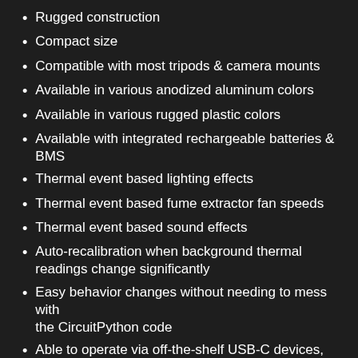Rugged construction
Compact size
Compatible with most tripods & camera mounts
Available in various anodized aluminum colors
Available in various rugged plastic colors
Available with integrated rechargeable batteries & BMS
Thermal event based lighting effects
Thermal event based fume extractor fan speeds
Thermal event based sound effects
Auto-recalibration when background thermal readings change significantly
Easy behavior changes without needing to mess with the CircuitPython code
Able to operate via off-the-shelf USB-C devices, including battery packs
Optional matching yolk if overhead mount is desired
Optional 3 foot USB-C cable
Optional 6 foot USB-C cable
Optional USB-C AC power adapter